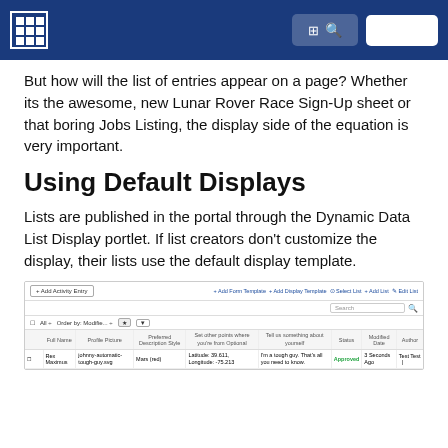[Logo] [UI] [Search icon] [Menu button]
But how will the list of entries appear on a page? Whether its the awesome, new Lunar Rover Race Sign-Up sheet or that boring Jobs Listing, the display side of the equation is very important.
Using Default Displays
Lists are published in the portal through the Dynamic Data List Display portlet. If list creators don't customize the display, their lists use the default display template.
[Figure (screenshot): Screenshot of Liferay Dynamic Data List Display portlet showing a sample list entry for 'Rex Maximus' with columns: Full Name, Profile Picture, Preferred Description, Set other points where you're from Optional, Tell us something about yourself, Status (Approved), Modified Date (3 Seconds Ago), Author (Test Test). Toolbar shows Add Activity Entry, Add Form Template, Add Display Template, Select List, Add List, Edit List buttons.]